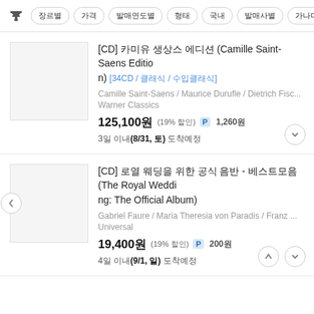필터 버튼 목록: 장르별, 가격, 발매연도별, 형태, 국내, 발매사별, 가나다
[CD] 카미유 생상스 에디션 (Camille Saint-Saens Edition) [34CD / 클래식 / 수입클래식]
Camille Saint-Saens / Maurice Durufle / Dietrich Fisc...
Warner Classics
125,100원 (19% 할인) P 1,260원
3일 이내(8/31, 토) 도착예정
[CD] 로열 웨딩을 위한 공식 음반 - 베스트모음 (The Royal Wedding: The Official Album)
Gabriel Faure / Maria Theresia von Paradis / Franz ...
Universal
19,400원 (19% 할인) P 200원
4일 이내(9/1, 일) 도착예정